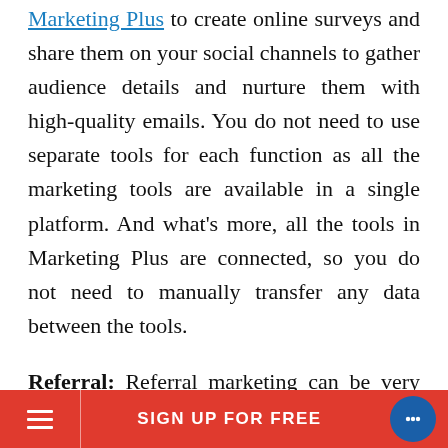Marketing Plus to create online surveys and share them on your social channels to gather audience details and nurture them with high-quality emails. You do not need to use separate tools for each function as all the marketing tools are available in a single platform. And what's more, all the tools in Marketing Plus are connected, so you do not need to manually transfer any data between the tools.
Referral: Referral marketing can be very powerful. Your happy customers are the best marketers and can be a great asset for lead generation. Create a special online survey for referral and ask your customers to share it with their friends and families.
SIGN UP FOR FREE